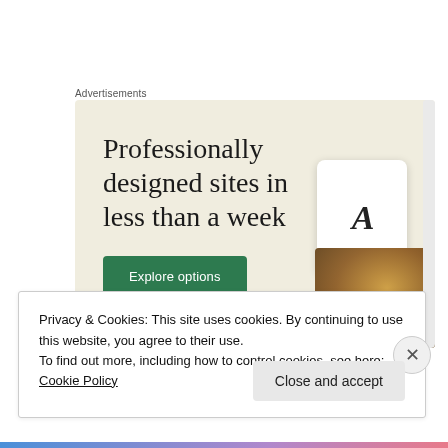Advertisements
[Figure (illustration): Advertisement banner with beige/cream background. Large serif text reads 'Professionally designed sites in less than a week' with a green 'Explore options' button. Right side shows a tablet mockup with letter A and food photography images partially visible.]
We b... ...t l... fi... l... f... th... li...
Privacy & Cookies: This site uses cookies. By continuing to use this website, you agree to their use.
To find out more, including how to control cookies, see here: Cookie Policy
Close and accept